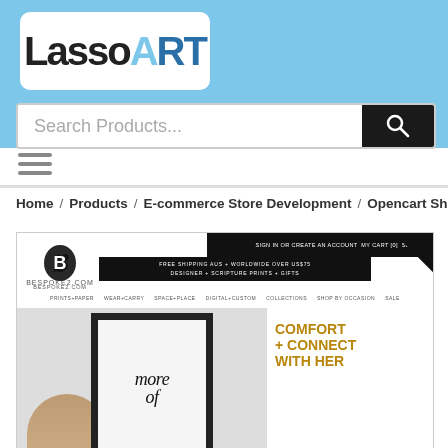LassoART
Search Products...
[Figure (screenshot): Screenshot of Bespoke2.com OpenCart e-commerce store showing logo, navigation, and hero image with 'more you' framed print and 'COMFORT + CONNECT WITH HER' text]
Home / Products / E-commerce Store Development / Opencart Shop